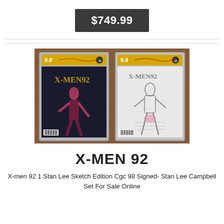$749.99
[Figure (photo): Two CGC 9.8 graded X-Men 92 #1 comic books in plastic cases on a wooden surface. Left is the color cover edition, right is the Stan Lee Sketch Edition, both signed.]
X-MEN 92
X-men 92 1 Stan Lee Sketch Edition Cgc 98 Signed- Stan Lee Campbell Set For Sale Online